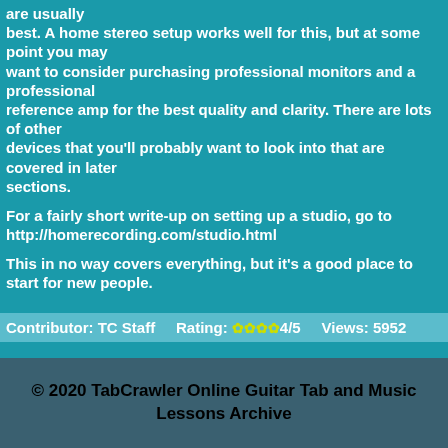are usually best. A home stereo setup works well for this, but at some point you may want to consider purchasing professional monitors and a professional reference amp for the best quality and clarity. There are lots of other devices that you'll probably want to look into that are covered in later sections.

For a fairly short write-up on setting up a studio, go to http://homerecording.com/studio.html

This in no way covers everything, but it's a good place to start for new people.
Contributor: TC Staff    Rating: ✿✿✿✿4/5    Views: 5952
© 2020 TabCrawler Online Guitar Tab and Music Lessons Archive